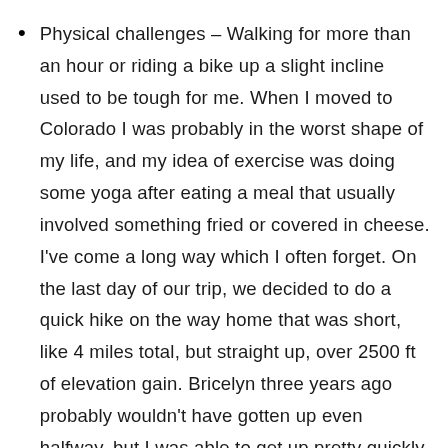Physical challenges – Walking for more than an hour or riding a bike up a slight incline used to be tough for me. When I moved to Colorado I was probably in the worst shape of my life, and my idea of exercise was doing some yoga after eating a meal that usually involved something fried or covered in cheese. I've come a long way which I often forget. On the last day of our trip, we decided to do a quick hike on the way home that was short, like 4 miles total, but straight up, over 2500 ft of elevation gain. Bricelyn three years ago probably wouldn't have gotten up even halfway, but I was able to get up pretty quickly and run most of the way down. I still found myself getting mad that Bret was ahead